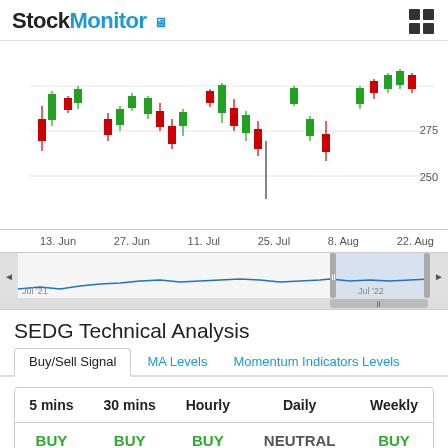StockMonitor
[Figure (continuous-plot): SEDG candlestick chart showing price action from mid-June to late August 2022, with price range approximately 250-275+. Green and red candlesticks with wicks. Y-axis shows 275 and 250 labels.]
[Figure (continuous-plot): Mini overview line chart showing historical price from Jul 2021 to Jul 2022 with a highlighted selected region on the right side.]
SEDG Technical Analysis
Buy/Sell Signal   MA Levels   Momentum Indicators Levels
| 5 mins | 30 mins | Hourly | Daily | Weekly |
| --- | --- | --- | --- | --- |
| BUY | BUY | BUY | NEUTRAL | BUY |